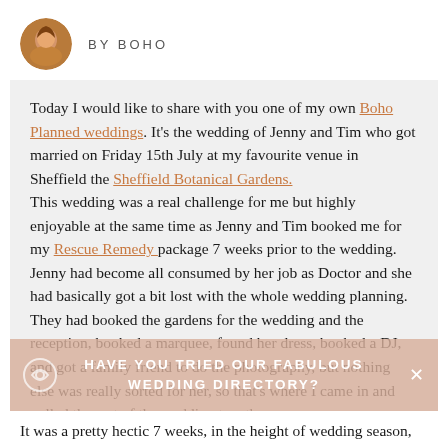BY BOHO
Today I would like to share with you one of my own Boho Planned weddings. It's the wedding of Jenny and Tim who got married on Friday 15th July at my favourite venue in Sheffield the Sheffield Botanical Gardens. This wedding was a real challenge for me but highly enjoyable at the same time as Jenny and Tim booked me for my Rescue Remedy package 7 weeks prior to the wedding. Jenny had become all consumed by her job as Doctor and she had basically got a bit lost with the whole wedding planning. They had booked the gardens for the wedding and the reception, booked a marquee, found her dress, booked a DJ, and got a family friend to do the photography, but nothing else was really sorted for her, so that's where I came in and pulled the rest of the wedding together.
It was a pretty hectic 7 weeks, in the height of wedding season,
HAVE YOU TRIED OUR FABULOUS WEDDING DIRECTORY?